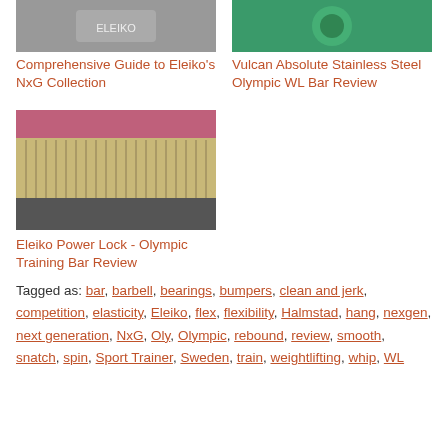[Figure (photo): Photo of Eleiko NxG equipment, partial view]
Comprehensive Guide to Eleiko's NxG Collection
[Figure (photo): Photo of Vulcan Absolute Stainless Steel Olympic WL Bar, green bumper plates visible]
Vulcan Absolute Stainless Steel Olympic WL Bar Review
[Figure (photo): Close-up photo of a barbell knurling/sleeve with red bumper plate in background]
Eleiko Power Lock - Olympic Training Bar Review
Tagged as: bar, barbell, bearings, bumpers, clean and jerk, competition, elasticity, Eleiko, flex, flexibility, Halmstad, hang, nexgen, next generation, NxG, Oly, Olympic, rebound, review, smooth, snatch, spin, Sport Trainer, Sweden, train, weightlifting, whip, WL